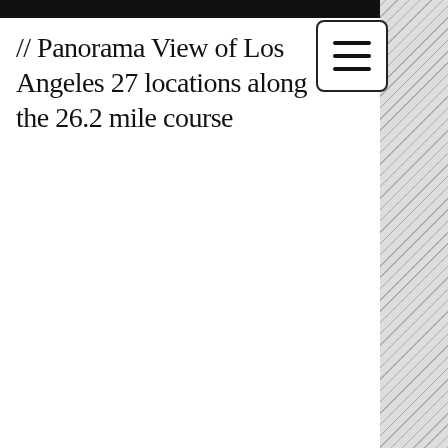// Panorama View of Los Angeles 27 locations along the 26.2 mile course